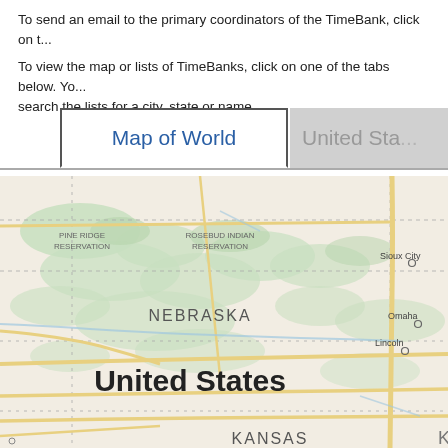To send an email to the primary coordinators of the TimeBank, click on t...
To view the map or lists of TimeBanks, click on one of the tabs below. Yo... search the lists for a city, state or name.
[Figure (map): Map of World tab selected, showing a geographic map of central United States including Nebraska, parts of South Dakota, Iowa, Kansas. Cities labeled: Sioux Falls, Sioux City, Omaha, Lincoln. Regions: Pine Ridge Reservation, Rosebud Indian Reservation. Large text 'United States' and 'KANSAS' visible. Roads shown in yellow. Terrain in green and beige tones.]